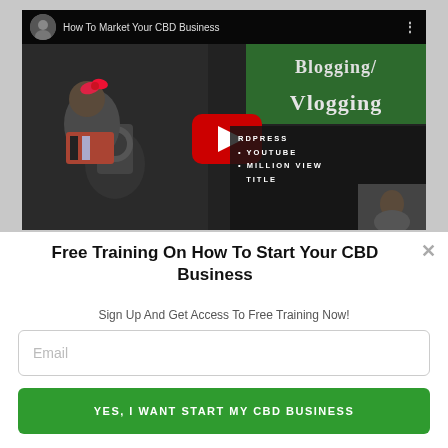[Figure (screenshot): YouTube video thumbnail showing 'How To Market Your CBD Business' with a girl blogger and camera, text overlay: Blogging/Vlogging, WORDPRESS, YOUTUBE, MILLION VIEW TITLE. YouTube play button visible.]
Free Training On How To Start Your CBD Business
Sign Up And Get Access To Free Training Now!
Email
YES, I WANT START MY CBD BUSINESS